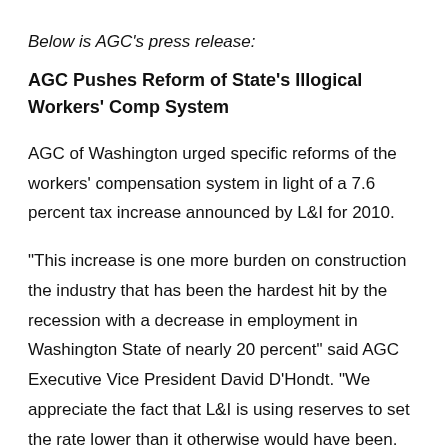Below is AGC's press release:
AGC Pushes Reform of State's Illogical Workers' Comp System
AGC of Washington urged specific reforms of the workers' compensation system in light of a 7.6 percent tax increase announced by L&I for 2010.
“This increase is one more burden on construction the industry that has been the hardest hit by the recession with a decrease in employment in Washington State of nearly 20 percent” said AGC Executive Vice President David D’Hondt. “We appreciate the fact that L&I is using reserves to set the rate lower than it otherwise would have been. But the fact